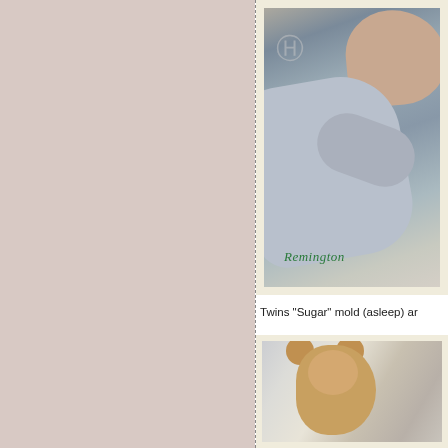[Figure (photo): Left panel with pinkish-beige/taupe background, blank]
[Figure (photo): Photo of a sleeping newborn baby in a light blue onesie, with watermark overlay, framed with cream border. Name 'Remington' written in green italic text at bottom.]
Twins "Sugar" mold (asleep) ar
[Figure (photo): Partial photo showing a teddy bear and baby, framed with cream border, partially cropped at bottom of page.]